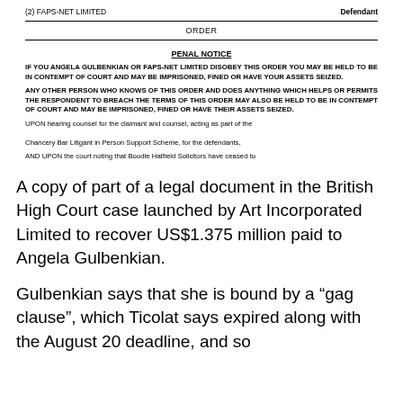(2) FAPS-NET LIMITED    Defendant
ORDER
PENAL NOTICE
IF YOU ANGELA GULBENKIAN OR FAPS-NET LIMITED DISOBEY THIS ORDER YOU MAY BE HELD TO BE IN CONTEMPT OF COURT AND MAY BE IMPRISONED, FINED OR HAVE YOUR ASSETS SEIZED.
ANY OTHER PERSON WHO KNOWS OF THIS ORDER AND DOES ANYTHING WHICH HELPS OR PERMITS THE RESPONDENT TO BREACH THE TERMS OF THIS ORDER MAY ALSO BE HELD TO BE IN CONTEMPT OF COURT AND MAY BE IMPRISONED, FINED OR HAVE THEIR ASSETS SEIZED.
UPON hearing counsel for the claimant and counsel, acting as part of the Chancery Bar Litigant in Person Support Scheme, for the defendants,
AND UPON the court noting that Boodle Hatfield Solicitors have ceased to
A copy of part of a legal document in the British High Court case launched by Art Incorporated Limited to recover US$1.375 million paid to Angela Gulbenkian.
Gulbenkian says that she is bound by a “gag clause”, which Ticolat says expired along with the August 20 deadline, and so